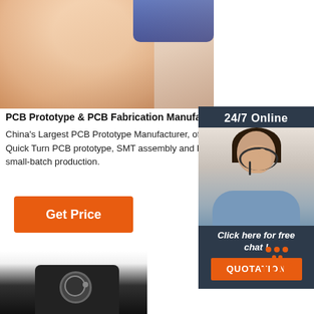[Figure (photo): Close-up of a finger holding a small PCB, with blue component visible at top]
PCB Prototype & PCB Fabrication Manufacturer - JLCPCB
China's Largest PCB Prototype Manufacturer, offers Quick Turn PCB prototype, SMT assembly and Reliable small-batch production.
[Figure (other): Get Price orange button]
[Figure (infographic): 24/7 Online chat widget with female customer service agent wearing headset, Click here for free chat! text and QUOTATION orange button]
[Figure (other): TOP back-to-top button with orange dots above text]
[Figure (photo): Small electronic component or PCB module at bottom of page]